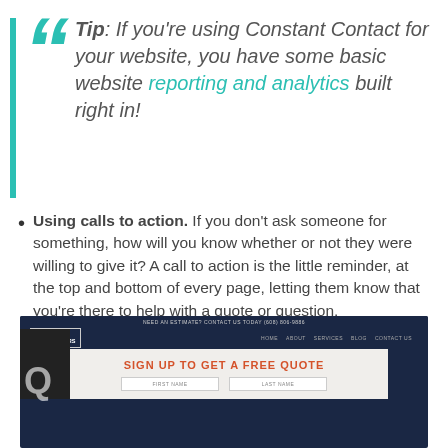Tip: If you're using Constant Contact for your website, you have some basic website reporting and analytics built right in!
Using calls to action. If you don't ask someone for something, how will you know whether or not they were willing to give it? A call to action is the little reminder, at the top and bottom of every page, letting them know that you're there to help with a quote or question.
[Figure (screenshot): Screenshot of a steel doors website showing a call-to-action box with 'SIGN UP TO GET A FREE QUOTE' in orange text on a light background, with dark navy navigation bar and FIRST NAME / LAST NAME form fields.]